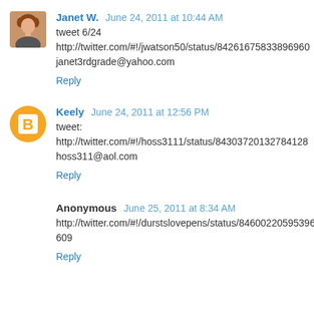Janet W.  June 24, 2011 at 10:44 AM
tweet 6/24
http://twitter.com/#!/jwatson50/status/84261675833896960
janet3rdgrade@yahoo.com
Reply
Keely  June 24, 2011 at 12:56 PM
tweet:
http://twitter.com/#!/hoss3111/status/84303720132784128
hoss311@aol.com
Reply
Anonymous  June 25, 2011 at 8:34 AM
http://twitter.com/#!/durstslovepens/status/84600220595396609
Reply